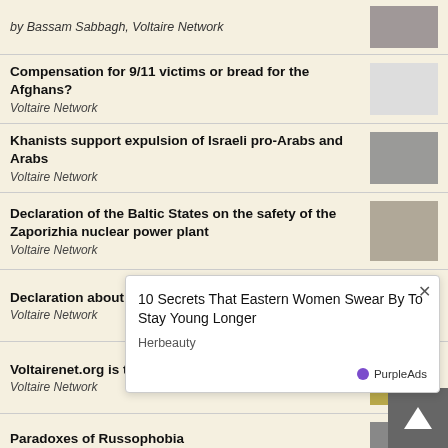by Bassam Sabbagh, Voltaire Network
Compensation for 9/11 victims or bread for the Afghans? — Voltaire Network
Khanists support expulsion of Israeli pro-Arabs and Arabs — Voltaire Network
Declaration of the Baltic States on the safety of the Zaporizhia nuclear power plant — Voltaire Network
Declaration about the decolonization of Russia — Voltaire Network
Voltairenet.org is taking a hiatus — Voltaire Network
Paradoxes of Russophobia — Voltaire Network
EU-Russia agreement on supplying Kaliningrad — Voltaire Network
Poli... — Voltaire Network
Ukra... — Voltaire Network
[Figure (screenshot): Ad overlay: '10 Secrets That Eastern Women Swear By To Stay Young Longer' by Herbeauty, with PurpleAds branding and close button]